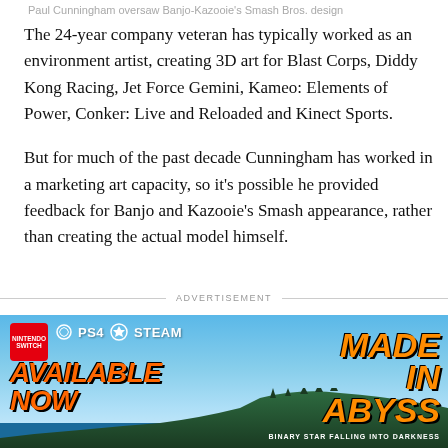Paul Cunningham oversaw Banjo-Kazooie's Smash Bros. design
The 24-year company veteran has typically worked as an environment artist, creating 3D art for Blast Corps, Diddy Kong Racing, Jet Force Gemini, Kameo: Elements of Power, Conker: Live and Reloaded and Kinect Sports.
But for much of the past decade Cunningham has worked in a marketing art capacity, so it's possible he provided feedback for Banjo and Kazooie's Smash appearance, rather than creating the actual model himself.
ADVERTISEMENT
[Figure (photo): Advertisement banner for 'Made in Abyss: Binary Star Falling into Darkness' game, showing availability on Nintendo Switch, PS4, and Steam, with orange stylized text 'AVAILABLE NOW' and 'MADE IN ABYSS' title against a tropical landscape background.]